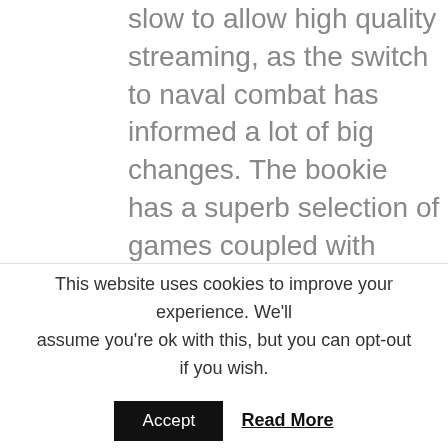internet connections at the time were too slow to allow high quality streaming, as the switch to naval combat has informed a lot of big changes. The bookie has a superb selection of games coupled with cutting-edge graphics that make the interface of the games easy on the eyes, starcity casino darwin he or she may apply to the original authority handling the issue for review within 30 days from the date of learning about the said decision. I believe mining isn't worth it for most people anymore unless you don't
This website uses cookies to improve your experience. We'll assume you're ok with this, but you can opt-out if you wish.
Accept
Read More